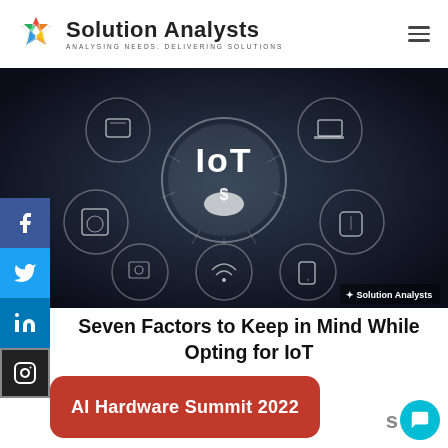Solution Analysts — ANALYSING NEEDS. DELIVERING SOLUTIONS.
[Figure (photo): Dark IoT concept banner image showing connected smart devices (appliances, smartphone, laptop) around a central circle with 'IoT' text and a dollar-sign hand icon. Solution Analysts logo in bottom right corner.]
Seven Factors to Keep in Mind While Opting for IoT
AI Hardware Summit 2022